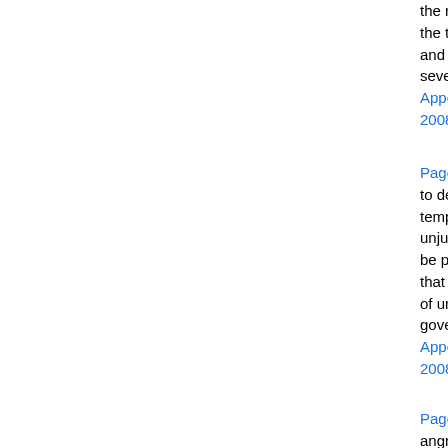the right hand of him that sat on the throne a book written within and on the backside, sealed with seven seals.
Appears in 633 books from 1755-2008
Page 62 - The Lord knoweth how to deliver the godly out of temptations, and to reserve the unjust unto the day of judgment to be punished: 10 But chiefly them that walk after the flesh in the lust of uncleanness, and despise government.
Appears in 873 books from 1654-2008
Page 99 - And the nations were angry, and